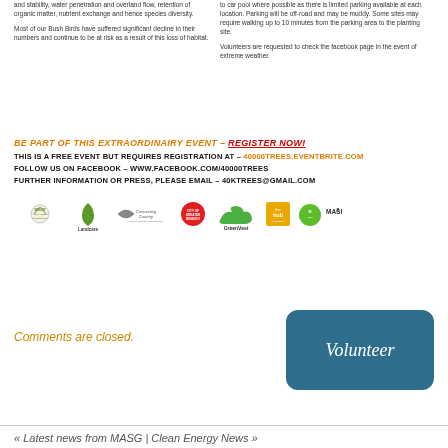and stability, water pen­etration and overland flow, retention of organic matter, nutrient exchange and hence species diversity.
Most of our Bush Birds have suffered significant decline in their numbers and continue to be at risk as a result of this loss of habitat.
to car pool where possible as there is limited parking available at each location. Parking will be off-road and may be muddy. Some sites may require walking up to 10 minutes from the parking area to the planting site.
Volunteers are requested to check the facebook page in the event of extreme weather.
BE PART OF THIS EXTRAORDINAIRY EVENT - REGISTER NOW!
THIS IS A FREE EVENT BUT REQUIRES REGISTRATION AT - 40000TREES.EVENTBRITE.COM
FOLLOW US ON FACEBOOK - WWW.FACEBOOK.COM/40000TREES
FURTHER INFORMATION OR PRESS, PLEASE EMAIL - 40KTREES@GMAIL.COM
[Figure (logo): Sponsor logos: Mount Alexander Shire Council, Landcare, Connecting Country, Bendigo, GreenVest, The Hub, MASH2]
[Figure (infographic): Volunteer button - teal rounded rectangle with 'Volunteer' text]
Comments are closed.
« Latest news from MASG | Clean Energy News »